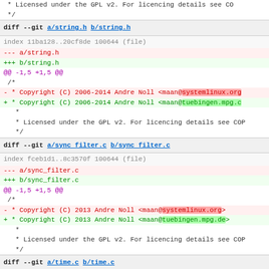* Licensed under the GPL v2. For licencing details see CO
 */
diff --git a/string.h b/string.h
index 11ba128..20cf8de 100644 (file)
--- a/string.h
+++ b/string.h
@@ -1,5 +1,5 @@
  /*
- * Copyright (C) 2006-2014 Andre Noll <maan@systemlinux.org
+ * Copyright (C) 2006-2014 Andre Noll <maan@tuebingen.mpg.c
  *
  * Licensed under the GPL v2. For licencing details see COP
  */
diff --git a/sync_filter.c b/sync_filter.c
index fceb1d1..8c3570f 100644 (file)
--- a/sync_filter.c
+++ b/sync_filter.c
@@ -1,5 +1,5 @@
  /*
- * Copyright (C) 2013 Andre Noll <maan@systemlinux.org>
+ * Copyright (C) 2013 Andre Noll <maan@tuebingen.mpg.de>
  *
  * Licensed under the GPL v2. For licencing details see COP
  */
diff --git a/time.c b/time.c
index c405351..040053d 100644 (file)
--- a/time.c
+++ b/time.c
@@ -1,5 +1,5 @@